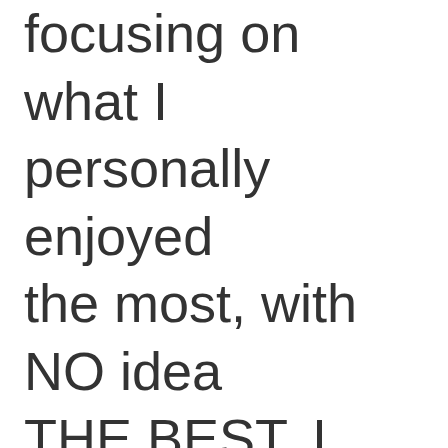focusing on what I personally enjoyed the most, with NO idea what THE BEST. I instead wanted some albums that got a attention this year that worth a listen.

With those provisos in p...